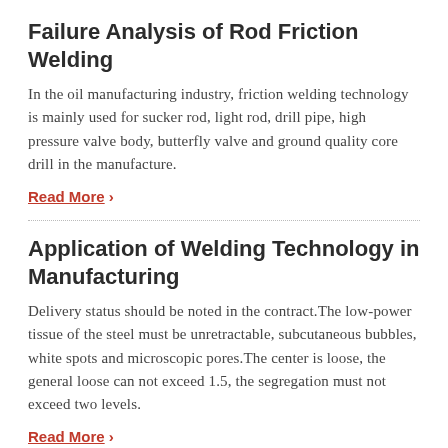Failure Analysis of Rod Friction Welding
In the oil manufacturing industry, friction welding technology is mainly used for sucker rod, light rod, drill pipe, high pressure valve body, butterfly valve and ground quality core drill in the manufacture.
Read More ›
Application of Welding Technology in Manufacturing
Delivery status should be noted in the contract.The low-power tissue of the steel must be unretractable, subcutaneous bubbles, white spots and microscopic pores.The center is loose, the general loose can not exceed 1.5, the segregation must not exceed two levels.
Read More ›
Multiaxial Columnar and Arc Welding D...